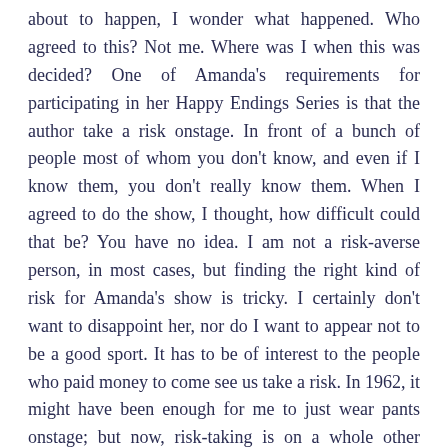about to happen, I wonder what happened. Who agreed to this? Not me. Where was I when this was decided? One of Amanda's requirements for participating in her Happy Endings Series is that the author take a risk onstage. In front of a bunch of people most of whom you don't know, and even if I know them, you don't really know them. When I agreed to do the show, I thought, how difficult could that be? You have no idea. I am not a risk-averse person, in most cases, but finding the right kind of risk for Amanda's show is tricky. I certainly don't want to disappoint her, nor do I want to appear not to be a good sport. It has to be of interest to the people who paid money to come see us take a risk. In 1962, it might have been enough for me to just wear pants onstage; but now, risk-taking is on a whole other level. How can I do a risk that appears to be a risk, but really isn't?
I like to think I take risks every week when I draw my cartoons. You sometimes might think. But some of the